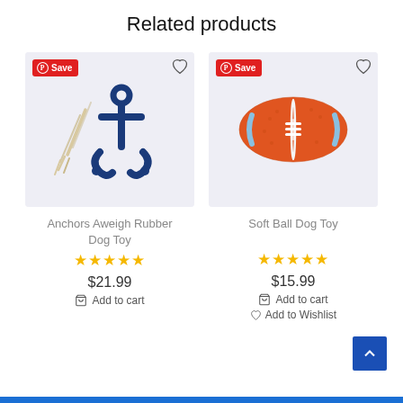Related products
[Figure (photo): Anchors Aweigh Rubber Dog Toy — blue rubber anchor with rope, on light grey background. Has Pinterest Save badge and heart wishlist icon.]
[Figure (photo): Soft Ball Dog Toy — orange rubber football shaped dog toy with blue stripe, on light grey background. Has Pinterest Save badge and heart wishlist icon.]
Anchors Aweigh Rubber Dog Toy
★★★★★
$21.99
🛒 Add to cart
Soft Ball Dog Toy
★★★★★
$15.99
🛒 Add to cart
♡ Add to Wishlist